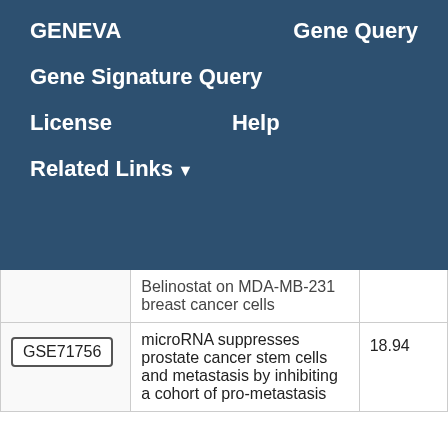GENEVA   Gene Query
Gene Signature Query
License   Help
Related Links ▼
| GSE ID | Description | Score |
| --- | --- | --- |
|  | Belinostat on MDA-MB-231 breast cancer cells |  |
| GSE71756 | microRNA suppresses prostate cancer stem cells and metastasis by inhibiting a cohort of pro-metastasis | 18.94 |